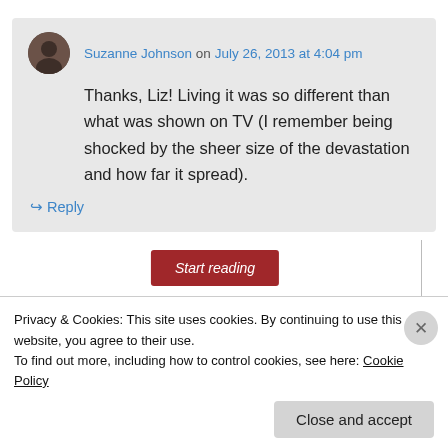Suzanne Johnson on July 26, 2013 at 4:04 pm
Thanks, Liz! Living it was so different than what was shown on TV (I remember being shocked by the sheer size of the devastation and how far it spread).
↳ Reply
[Figure (other): Start reading button (dark red/maroon)]
Privacy & Cookies: This site uses cookies. By continuing to use this website, you agree to their use.
To find out more, including how to control cookies, see here: Cookie Policy
Close and accept